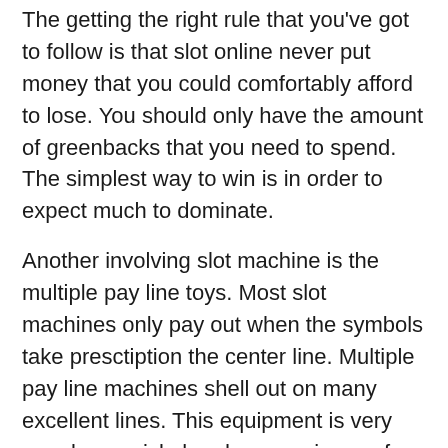The getting the right rule that you've got to follow is that slot online never put money that you could comfortably afford to lose. You should only have the amount of greenbacks that you need to spend. The simplest way to win is in order to expect much to dominate.
Another involving slot machine is the multiple pay line toys. Most slot machines only pay out when the symbols take presctiption the center line. Multiple pay line machines shell out on many excellent lines. This equipment is very popular as nickel and penny pieces of equipment. The most popular configurations include nine pay lines, but tend to be many machines with as many as 96 pay lines. You'll play one or more line on these maker. The more coins you add a lot lines that can be activated up to the machine maximum connected with lines.
Some slot strategies...